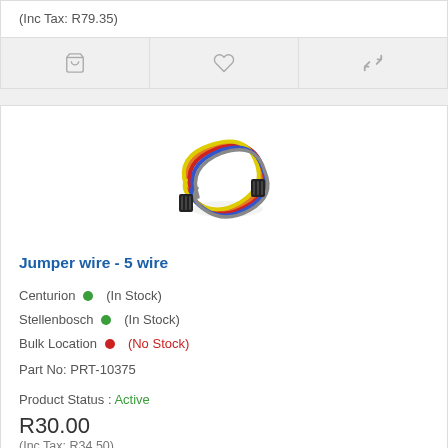(Inc Tax: R79.35)
[Figure (illustration): Three icon buttons: shopping cart, heart/wishlist, compare arrows]
[Figure (photo): Jumper wire 5-wire coiled cable with connectors on both ends]
Jumper wire - 5 wire
Centurion (In Stock)
Stellenbosch (In Stock)
Bulk Location (No Stock)
Part No: PRT-10375
Product Status : Active
R30.00
(Inc Tax: R34.50)
[Figure (illustration): Three icon buttons: shopping cart, heart/wishlist, compare arrows]
[Figure (photo): Partial view of another product - orange wire/cable with connector]